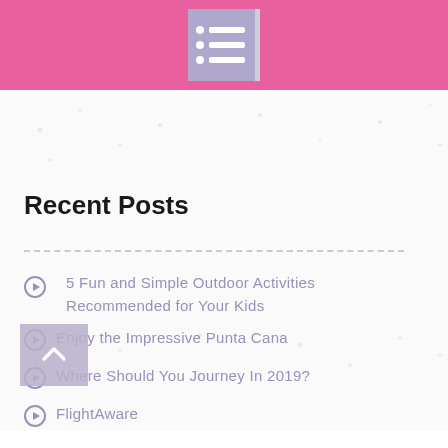[Figure (logo): Pink header bar with a list/icon widget in the center — white dots and lines on a purple-blue box with a white right border]
Recent Posts
5 Fun and Simple Outdoor Activities Recommended for Your Kids
Enjoy the Impressive Punta Cana
Where Should You Journey In 2019?
FlightAware